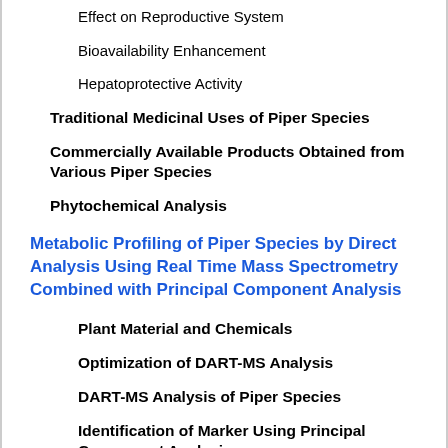Effect on Reproductive System
Bioavailability Enhancement
Hepatoprotective Activity
Traditional Medicinal Uses of Piper Species
Commercially Available Products Obtained from Various Piper Species
Phytochemical Analysis
Metabolic Profiling of Piper Species by Direct Analysis Using Real Time Mass Spectrometry Combined with Principal Component Analysis
Plant Material and Chemicals
Optimization of DART-MS Analysis
DART-MS Analysis of Piper Species
Identification of Marker Using Principal Component Analysis
Quantitative Determination of Chemical